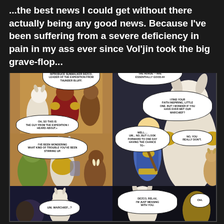...the best news I could get without there actually being any good news. Because I've been suffering from a severe deficiency in pain in my ass ever since Vol'jin took the big grave-flop...
[Figure (illustration): A multi-panel comic strip featuring animated characters including a white dog-like creature (Dezco), several Horde characters, and a human boy. Speech bubbles contain dialogue: 'WARCHIEF, I'D LIKE TO INTRODUCE SUNWALKER DEZCO, LEADER OF THE EXPEDITION FROM THUNDER BLUFF.', 'I BELIEVE THAT OUR PEOPLE -- AND THE HORDE -- ARE ESSENTIALLY GOOD.##', 'I FIND YOUR FAITH INSPIRING, LITTLE ONE. BUT I WONDER IF YOU HAVE EVER MET OUR WARCHIEF?', 'OH, SO THIS IS THE GUY FROM THE EXPEDITION I HEARD ABOUT.+', 'WELL.... UM... NO, BUT I LOOK FORWARD TO ONE DAY HAVING THE CHANCE TO--', 'NO, YOU REALLY DON'T.', 'I'VE BEEN WONDERING WHAT KIND OF TROUBLE YOU'VE BEEN STIRRING UP.', 'UM, WARCHIEF...?', 'DEZCO, RELAX, I'M JUST MESSING WITH YOU.', 'OH.']